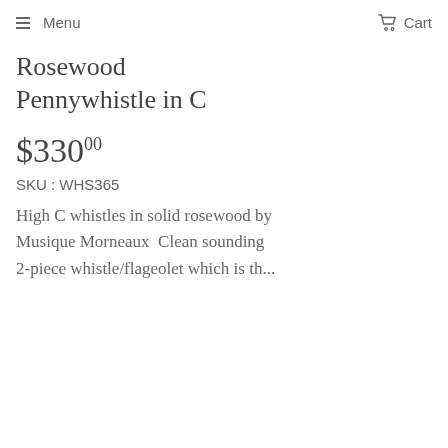Menu  Cart
Rosewood Pennywhistle in C
$33000  SKU : WHS365
High C whistles in solid rosewood by Musique Morneaux  Clean sounding 2-piece whistle/flageolet which is th...